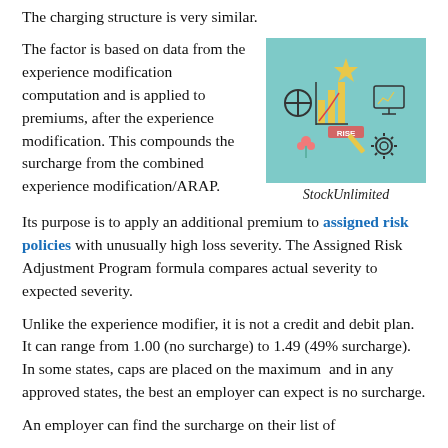The charging structure is very similar.
The factor is based on data from the experience modification computation and is applied to premiums, after the experience modification. This compounds the surcharge from the combined experience modification/ARAP.
[Figure (illustration): Illustrated graphic showing business/risk icons including a circular target, bar chart, computer monitor, star, and gear on a teal background with the word RISE]
StockUnlimited
Its purpose is to apply an additional premium to assigned risk policies with unusually high loss severity. The Assigned Risk Adjustment Program formula compares actual severity to expected severity.
Unlike the experience modifier, it is not a credit and debit plan. It can range from 1.00 (no surcharge) to 1.49 (49% surcharge). In some states, caps are placed on the maximum  and in any approved states, the best an employer can expect is no surcharge.
An employer can find the surcharge on their list of